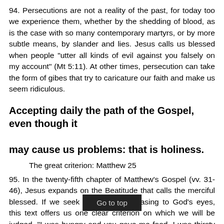94. Persecutions are not a reality of the past, for today too we experience them, whether by the shedding of blood, as is the case with so many contemporary martyrs, or by more subtle means, by slander and lies. Jesus calls us blessed when people "utter all kinds of evil against you falsely on my account" (Mt 5:11). At other times, persecution can take the form of gibes that try to caricature our faith and make us seem ridiculous.
Accepting daily the path of the Gospel, even though it may cause us problems: that is holiness.
The great criterion: Matthew 25
95. In the twenty-fifth chapter of Matthew's Gospel (vv. 31-46), Jesus expands on the Beatitude that calls the merciful blessed. If we seek the holiness pleasing to God's eyes, this text offers us one clear criterion on which we will be judged. "I was hungry and you gave me food, I was thirsty and you gave me drink, I was a stranger and you welcomed me, I was naked and you clothed me, I was sick and you took care of me, I was in prison and you visited me" (vv. 35-36).